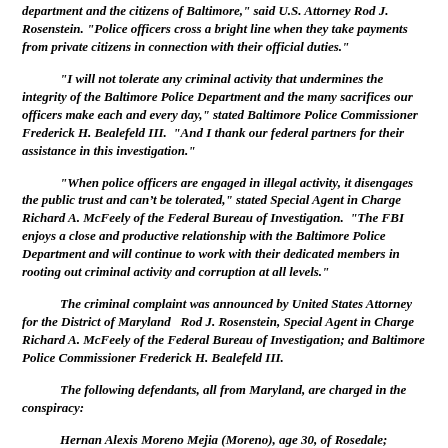department and the citizens of Baltimore," said U.S. Attorney Rod J. Rosenstein. "Police officers cross a bright line when they take payments from private citizens in connection with their official duties."
"I will not tolerate any criminal activity that undermines the integrity of the Baltimore Police Department and the many sacrifices our officers make each and every day," stated Baltimore Police Commissioner Frederick H. Bealefeld III.  "And I thank our federal partners for their assistance in this investigation."
"When police officers are engaged in illegal activity, it disengages the public trust and can't be tolerated," stated Special Agent in Charge Richard A. McFeely of the Federal Bureau of Investigation.  "The FBI enjoys a close and productive relationship with the Baltimore Police Department and will continue to work with their dedicated members in rooting out criminal activity and corruption at all levels."
The criminal complaint was announced by United States Attorney for the District of Maryland   Rod J. Rosenstein, Special Agent in Charge Richard A. McFeely of the Federal Bureau of Investigation; and Baltimore Police Commissioner Frederick H. Bealefeld III.
The following defendants, all from Maryland, are charged in the conspiracy:
Hernan Alexis Moreno Mejia (Moreno), age 30, of Rosedale;